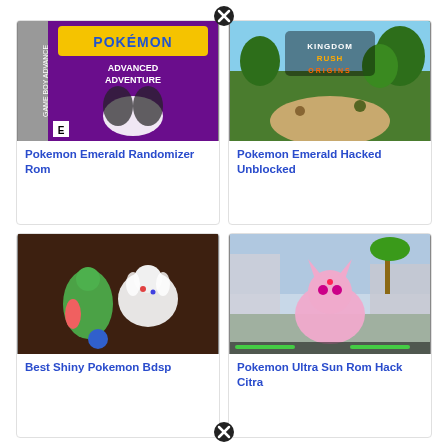[Figure (screenshot): Pokemon Advanced Adventure Game Boy Advance game cover with a white/dark pokemon on purple background]
Pokemon Emerald Randomizer Rom
[Figure (screenshot): Kingdom Rush Origins game screenshot showing fantasy tower defense scene with trees and path]
Pokemon Emerald Hacked Unblocked
[Figure (screenshot): Pokemon BDSP shiny pokemon screenshot showing Gallade and Togekiss on brown background]
Best Shiny Pokemon Bdsp
[Figure (screenshot): Pokemon Ultra Sun game screenshot showing pink Espeon-like pokemon in a city area]
Pokemon Ultra Sun Rom Hack Citra